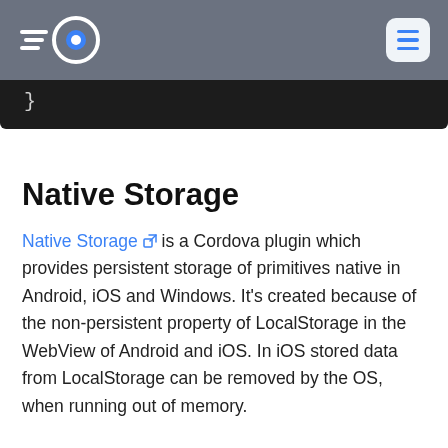Ionic Native Storage documentation page header with logo and navigation menu
}
Native Storage
Native Storage is a Cordova plugin which provides persistent storage of primitives native in Android, iOS and Windows. It's created because of the non-persistent property of LocalStorage in the WebView of Android and iOS. In iOS stored data from LocalStorage can be removed by the OS, when running out of memory.